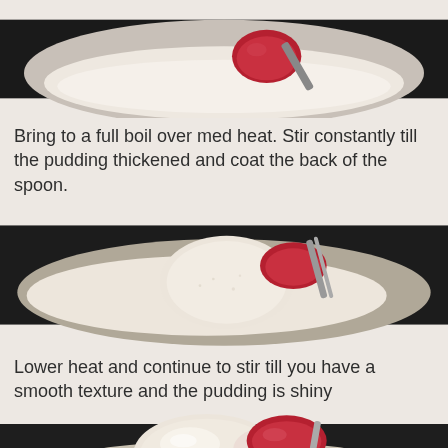[Figure (photo): Close-up photo of a red silicone spatula in a pot of white liquid pudding mixture, early stage (thin)]
Bring to a full boil over med heat. Stir constantly till the pudding thickened and coat the back of the spoon.
[Figure (photo): Close-up photo of a red silicone spatula coated with thickened white pudding in a pot, showing the pudding coating the back of the spoon]
Lower heat and continue to stir till you have a smooth texture and the pudding is shiny
[Figure (photo): Close-up photo of a red silicone spatula with smooth shiny pudding coating on the back, showing the finished smooth texture]